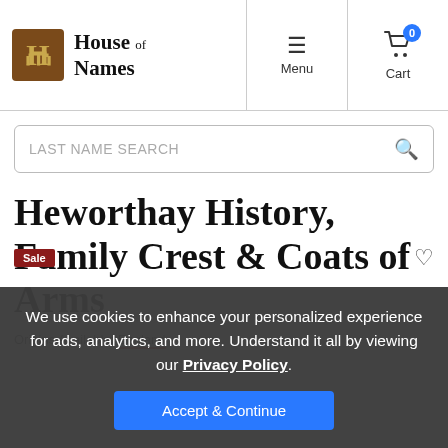House of Names — Menu | Cart (0)
LAST NAME SEARCH
Heworthay History, Family Crest & Coats of Arms
Origins Available: England
We use cookies to enhance your personalized experience for ads, analytics, and more. Understand it all by viewing our Privacy Policy.
Accept & Continue